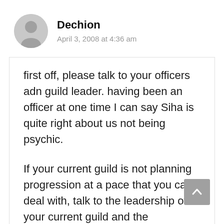Dechion
April 3, 2008 at 4:36 am
first off, please talk to your officers adn guild leader. having been an officer at one time I can say Siha is quite right about us not being psychic.

If your current guild is not planning progression at a pace that you can deal with, talk to the leadership of your current guild and the leadership